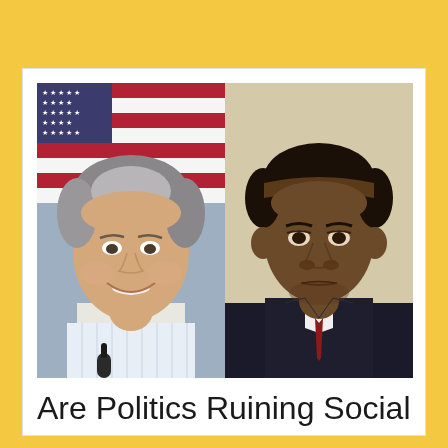[Figure (photo): Side-by-side photos of two political figures: Mitt Romney (left, smiling, in front of American flag, wearing light blue shirt) and Barack Obama (right, serious expression, wearing dark suit with red tie, in front of light beige background)]
Are Politics Ruining Social